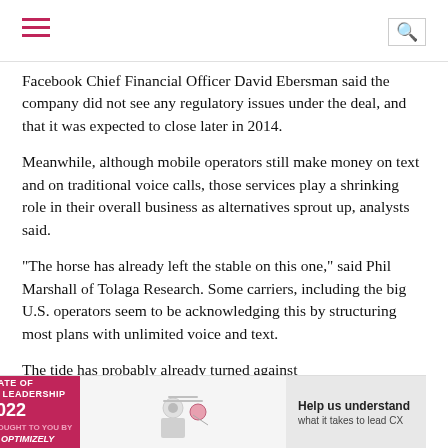[Navigation bar with hamburger menu and search icon]
Facebook Chief Financial Officer David Ebersman said the company did not see any regulatory issues under the deal, and that it was expected to close later in 2014.
Meanwhile, although mobile operators still make money on text and on traditional voice calls, those services play a shrinking role in their overall business as alternatives sprout up, analysts said.
"The horse has already left the stable on this one," said Phil Marshall of Tolaga Research. Some carriers, including the big U.S. operators seem to be acknowledging this by structuring most plans with unlimited voice and text.
The tide has probably already turned against telecommunications carriers, the original providers of real-time communications. While Skype and other voice apps ate into minutes, Internet-based "over the top" services such as WhatsA[...] e in 2012, re[...] orted [...]
[Figure (other): Advertisement banner: STATE OF CX LEADERSHIP 2022, brought to you by Optimizely, with illustration and 'Help us understand what it takes to lead CX' text]